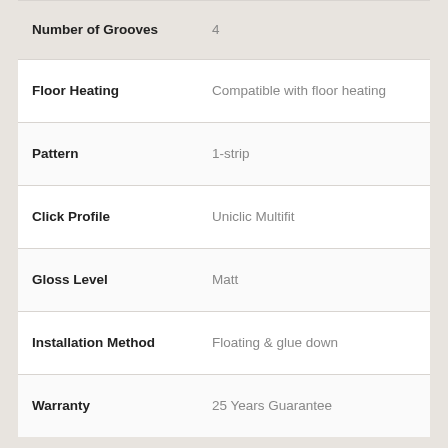| Attribute | Value |
| --- | --- |
| Number of Grooves | 4 |
| Floor Heating | Compatible with floor heating |
| Pattern | 1-strip |
| Click Profile | Uniclic Multifit |
| Gloss Level | Matt |
| Installation Method | Floating & glue down |
| Warranty | 25 Years Guarantee |
MORE INFO
ReadyFlor XL is a collection of popular Australian timber floors in a luxurious big plank format. Simply stunning in appearance and